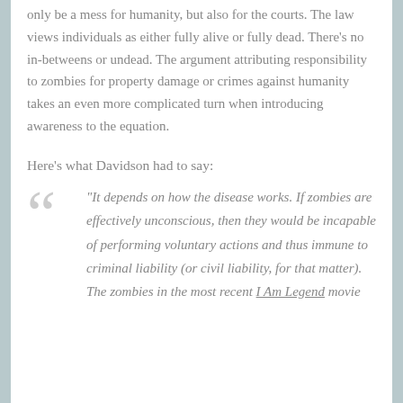only be a mess for humanity, but also for the courts. The law views individuals as either fully alive or fully dead. There's no in-betweens or undead. The argument attributing responsibility to zombies for property damage or crimes against humanity takes an even more complicated turn when introducing awareness to the equation.
Here's what Davidson had to say:
“It depends on how the disease works. If zombies are effectively unconscious, then they would be incapable of performing voluntary actions and thus immune to criminal liability (or civil liability, for that matter). The zombies in the most recent I Am Legend movie